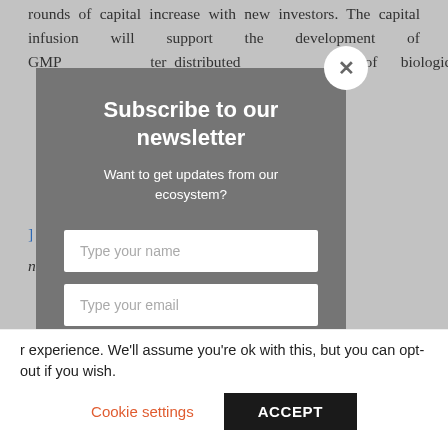rounds of capital increase with new investors. The capital infusion will support the development of GMP ter distributed of biologics. Series C second €70 million. The
nding, Health,
[Figure (screenshot): Newsletter subscription modal popup with dark grey background, title 'Subscribe to our newsletter', subtitle 'Want to get updates from our ecosystem?', two input fields ('Type your name', 'Type your email'), and a SUBMIT button. Has a close (X) button at top right.]
r experience. We'll assume you're ok with this, but you can opt-out if you wish.
Cookie settings   ACCEPT